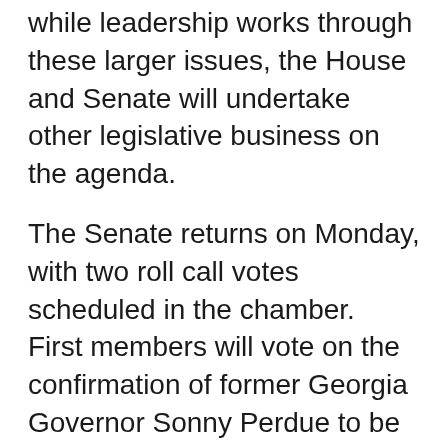while leadership works through these larger issues, the House and Senate will undertake other legislative business on the agenda.
The Senate returns on Monday, with two roll call votes scheduled in the chamber.  First members will vote on the confirmation of former Georgia Governor Sonny Perdue to be Secretary of Agriculture.  Members will then vote on cloture on the nomination of Rod Rosenstein to serve as Deputy Attorney General, setting up a final confirmation vote on the nominee later in the week.  The floor schedule beyond these two votes is unclear, although action can be expected on a continuing resolution or larger government funding bill if an agreement is reached.  In the meantime the